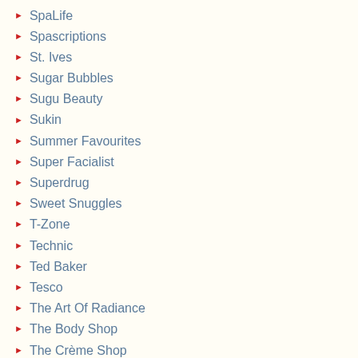SpaLife
Spascriptions
St. Ives
Sugar Bubbles
Sugu Beauty
Sukin
Summer Favourites
Super Facialist
Superdrug
Sweet Snuggles
T-Zone
Technic
Ted Baker
Tesco
The Art Of Radiance
The Body Shop
The Crème Shop
Thierry Mugler
Tokidoki
Tonymoly